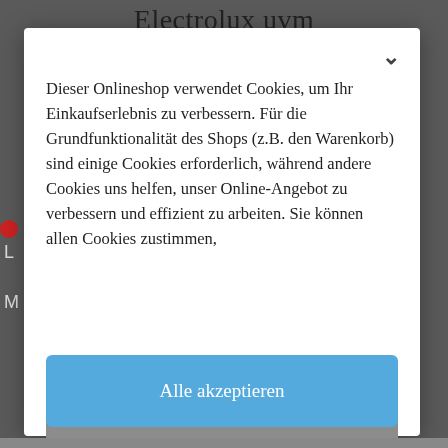Electrolux uvm
Dieser Onlineshop verwendet Cookies, um Ihr Einkaufserlebnis zu verbessern. Für die Grundfunktionalität des Shops (z.B. den Warenkorb) sind einige Cookies erforderlich, während andere Cookies uns helfen, unser Online-Angebot zu verbessern und effizient zu arbeiten. Sie können allen Cookies zustimmen,
Erforderliche akzeptieren
Alle akzeptieren